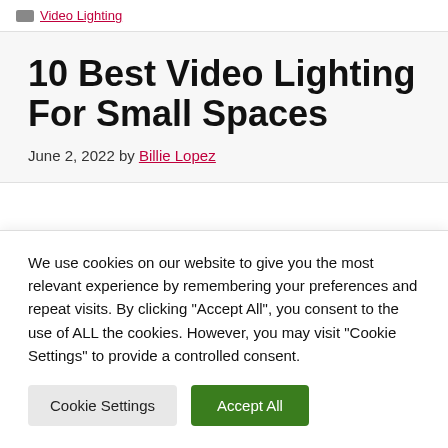Video Lighting
10 Best Video Lighting For Small Spaces
June 2, 2022 by Billie Lopez
We use cookies on our website to give you the most relevant experience by remembering your preferences and repeat visits. By clicking "Accept All", you consent to the use of ALL the cookies. However, you may visit "Cookie Settings" to provide a controlled consent.